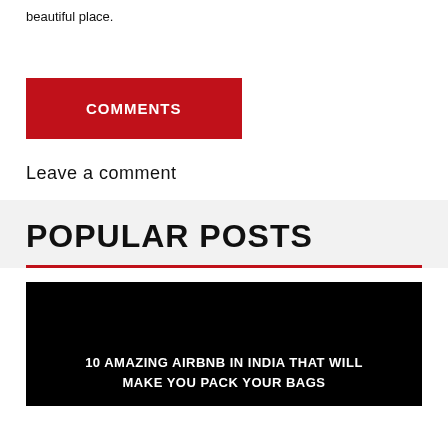beautiful place.
COMMENTS
Leave a comment
POPULAR POSTS
[Figure (photo): Dark/black image block with white text overlay reading '10 AMAZING AIRBNB IN INDIA THAT WILL MAKE YOU PACK YOUR BAGS']
10 AMAZING AIRBNB IN INDIA THAT WILL MAKE YOU PACK YOUR BAGS